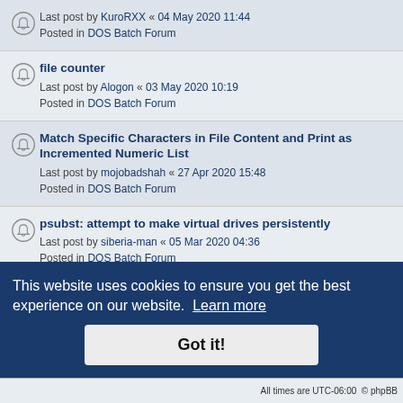Last post by KuroRXX « 04 May 2020 11:44
Posted in DOS Batch Forum
file counter
Last post by Alogon « 03 May 2020 10:19
Posted in DOS Batch Forum
Match Specific Characters in File Content and Print as Incremented Numeric List
Last post by mojobadshah « 27 Apr 2020 15:48
Posted in DOS Batch Forum
psubst: attempt to make virtual drives persistently
Last post by siberia-man « 05 Mar 2020 04:36
Posted in DOS Batch Forum
PixelPaint.exe & PixelPaintVisualicer.exe || Sprite editor for PixelDrawTXT.exe
Last post by DQ2000 « 18 Feb 2020 03:40
Posted in DOS Batch Forum
"Path" \ h4x has no file extension although it is a folder?
Last post by TRGYT « 18 Jan 2020 14:17
Posted in DOS Batch Forum
This website uses cookies to ensure you get the best experience on our website. Learn more
Got it!
All times are UTC-06:00 © phpBB Limited